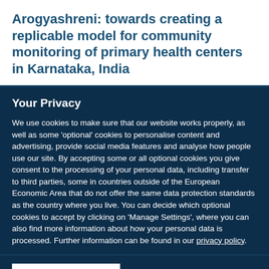Arogyashreni: towards creating a replicable model for community monitoring of primary health centers in Karnataka, India
Your Privacy
We use cookies to make sure that our website works properly, as well as some 'optional' cookies to personalise content and advertising, provide social media features and analyse how people use our site. By accepting some or all optional cookies you give consent to the processing of your personal data, including transfer to third parties, some in countries outside of the European Economic Area that do not offer the same data protection standards as the country where you live. You can decide which optional cookies to accept by clicking on 'Manage Settings', where you can also find more information about how your personal data is processed. Further information can be found in our privacy policy.
Accept all cookies
Manage preferences